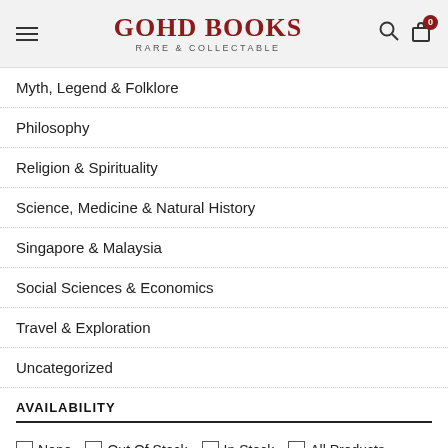GOHD BOOKS RARE & COLLECTABLE
Myth, Legend & Folklore
Philosophy
Religion & Spirituality
Science, Medicine & Natural History
Singapore & Malaysia
Social Sciences & Economics
Travel & Exploration
Uncategorized
AVAILABILITY
None   Out Of Stock   In Stock   All Products
OPTIONS